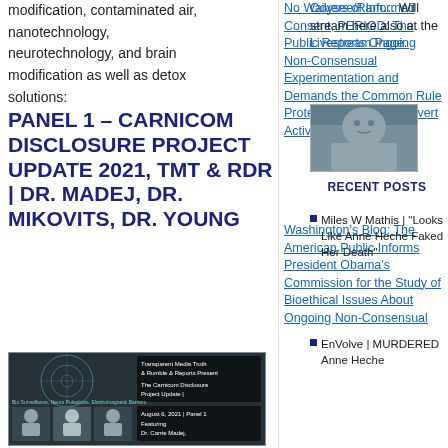modification, contaminated air, nanotechnology, neurotechnology, and brain modification as well as detox solutions:
PANEL 1 – CARNICOM DISCLOSURE PROJECT UPDATE 2021, TMT & RDR | DR. MADEJ, DR. MIKOVITS, DR. YOUNG
[Figure (screenshot): Video thumbnail showing panel discussion with text overlays including 'Transparent Media Truth & Rumble & Reports Present', 'The Carnicom Disclosure Project Update | August 6, 2021 | Panel 1', 'Featuring Dr. Carrie Madej...' and showing multiple people in a video call format]
No Waivers of Informed Consent, PERIOD: The Public Reports Ongoing Non-Consensual Experimentation and Demands the Common Rule Protect Citizens, Not Covert Activities
Washington's Blog: The American Public Informs President Obama's Commission for the Study of Bioethical Issues About Ongoing Non-Consensual
Odysee/Ram... Will stream here also at the Livestream Page.
[Figure (photo): Small thumbnail photo showing a person outdoors, appears to be a woman]
RECENT POSTS
Miles W Mathis | "Looks Like Anne Heche Faked Her Death"
EnVolve | MURDERED Anne Heche